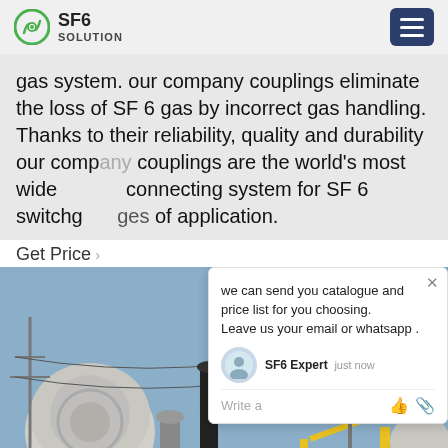SF6 SOLUTION
gas system. our company couplings eliminate the loss of SF 6 gas by incorrect gas handling. Thanks to their reliability, quality and durability our company couplings are the world's most wide connecting system for SF 6 switchg... ges of application.
Get Price
[Figure (screenshot): Chat popup overlay showing: 'we can send you catalogue and price list for you choosing. Leave us your email or whatsapp .' with SF6 Expert avatar, 'just now' timestamp, and Write a message input area with thumbs up and paperclip icons. A green chat bubble button with red notification badge showing '1' is visible.]
[Figure (photo): Photograph of an electrical substation showing SF6 equipment, transmission towers/pylons, yellow crane/truck, and high-voltage infrastructure under a blue sky.]